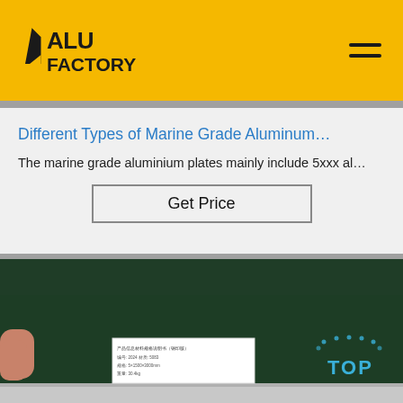ALU FACTORY
Different Types of Marine Grade Aluminum…
The marine grade aluminium plates mainly include 5xxx al…
Get Price
[Figure (photo): Close-up photo of aluminum plates on a dark green background, with a white product label card visible, a finger pointing from the left, and a 'TOP' badge in the bottom right corner.]